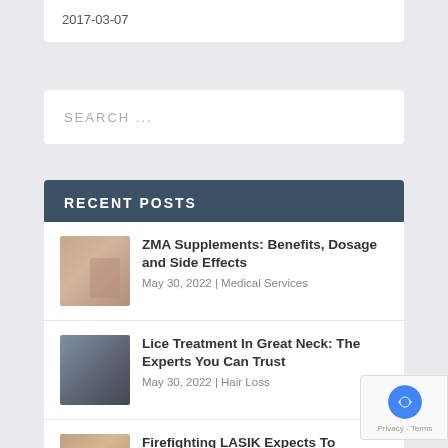2017-03-07
SEARCH ...
RECENT POSTS
ZMA Supplements: Benefits, Dosage and Side Effects
May 30, 2022 | Medical Services
Lice Treatment In Great Neck: The Experts You Can Trust
May 30, 2022 | Hair Loss
Firefighting LASIK Expects To Change The Lives For Good